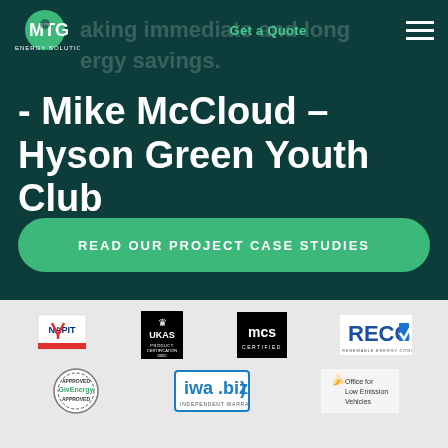[Figure (screenshot): MTG Energy Solutions website screenshot showing navigation bar with logo, Get a Quote link, hamburger menu, a testimonial quote from Mike McCloud of Hyson Green Youth Club, a CTA button 'READ OUR PROJECT CASE STUDIES', and certification logos (NAPIT, UKAS, MCS, RECC, GivEnergy Approved, iwa.biz Independent Warranty, Office for Low Emission Vehicles) on a light grey background.]